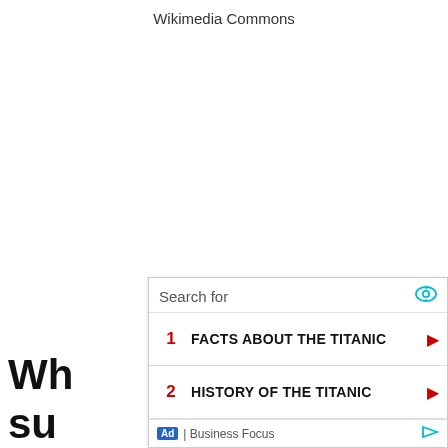Wikimedia Commons
Wh su
[Figure (screenshot): Advertisement overlay showing 'Search for' with two results: 1. FACTS ABOUT THE TITANIC, 2. HISTORY OF THE TITANIC, with Business Focus branding]